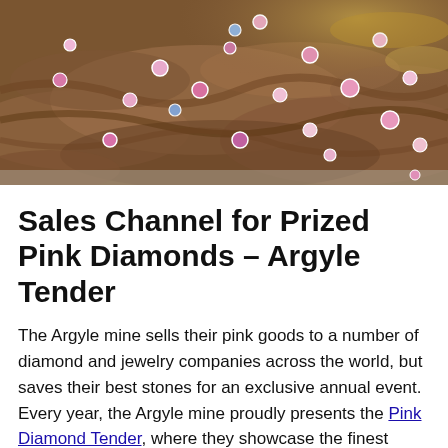[Figure (photo): Close-up photo of pink and blue diamonds scattered on a rough brown rocky surface, likely from the Argyle mine.]
Sales Channel for Prized Pink Diamonds – Argyle Tender
The Argyle mine sells their pink goods to a number of diamond and jewelry companies across the world, but saves their best stones for an exclusive annual event. Every year, the Argyle mine proudly presents the Pink Diamond Tender, where they showcase the finest diamonds they found.
The 2016 diamond tender included some of